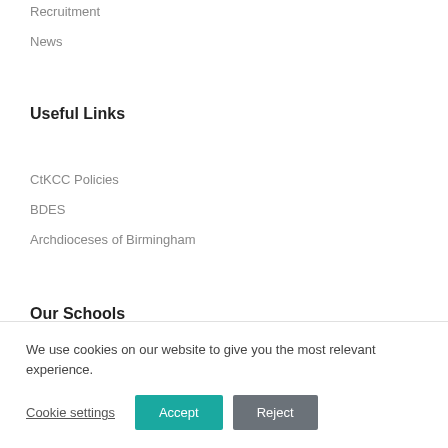Recruitment
News
Useful Links
CtKCC Policies
BDES
Archdioceses of Birmingham
Our Schools
We use cookies on our website to give you the most relevant experience.
Cookie settings  Accept  Reject